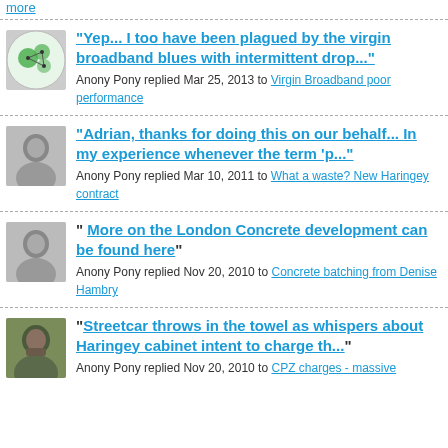"Yep... I too have been plagued by the virgin broadband blues with intermittent drop..." Anony Pony replied Mar 25, 2013 to Virgin Broadband poor performance
"Adrian, thanks for doing this on our behalf... In my experience whenever the term 'p..." Anony Pony replied Mar 10, 2011 to What a waste? New Haringey contract
" More on the London Concrete development can be found here" Anony Pony replied Nov 20, 2010 to Concrete batching from Denise Hambry
"Streetcar throws in the towel as whispers about Haringey cabinet intent to charge th..." Anony Pony replied Nov 20, 2010 to CPZ charges - massive